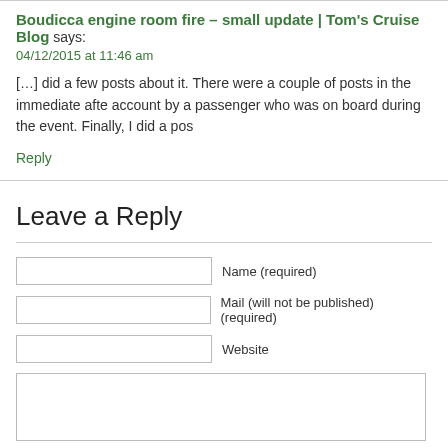Boudicca engine room fire – small update | Tom's Cruise Blog says:
04/12/2015 at 11:46 am
[…] did a few posts about it. There were a couple of posts in the immediate afte account by a passenger who was on board during the event. Finally, I did a pos
Reply
Leave a Reply
Name (required)
Mail (will not be published) (required)
Website